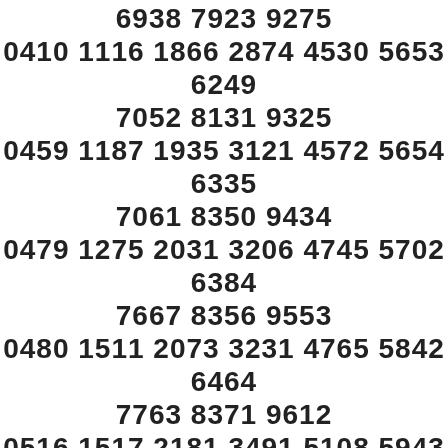6938 7923 9275
0410 1116 1866 2874 4530 5653 6249
7052 8131 9325
0459 1187 1935 3121 4572 5654 6335
7061 8350 9434
0479 1275 2031 3206 4745 5702 6384
7667 8356 9553
0480 1511 2073 3231 4765 5842 6464
7763 8371 9612
0516 1517 2181 3491 5108 5943 6485
7772 8880 9932
0517 1643 2527 3715 5154 6008 6513
7820 8981 9943
0729 1692 2530 3804 5173 6026 6719